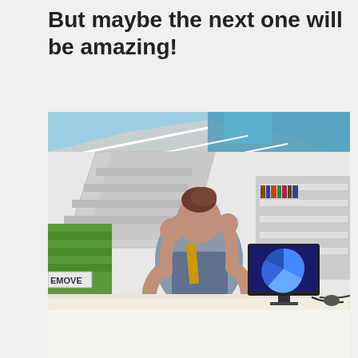But maybe the next one will be amazing!
[Figure (photo): A person in a wheelchair sitting at a computer desk in a modern library, viewed from behind. They have their hands raised to their head. The computer monitor shows a pie chart presentation. The library has green shelving units, bookshelves, and a bright interior with a staircase and blue glass ceiling panels.]